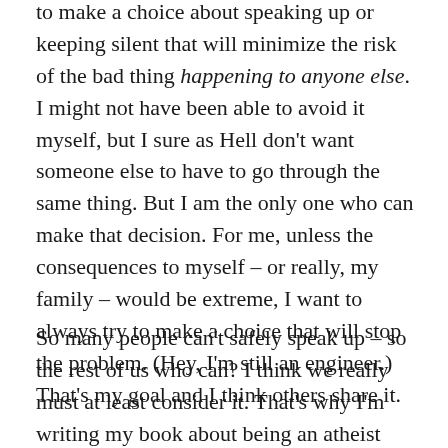to make a choice about speaking up or keeping silent that will minimize the risk of the bad thing happening to anyone else. I might not have been able to avoid it myself, but I sure as Hell don't want someone else to have to go through the same thing. But I am the only one who can make that decision. For me, unless the consequences to myself – or really, my family – would be extreme, I want to always try to make a choice that will stop the problem. (Hey, I'm still an engineer.) That's my goal and I think others share it.
So many people can't safely speak up – so the rest of us who can? I think we really must at least consider it. That's why I'm writing my book about being an atheist from an